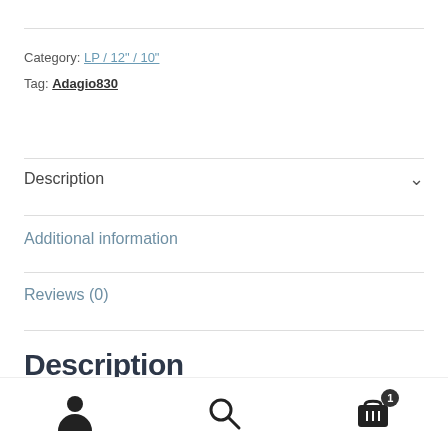Category: LP / 12" / 10"
Tag: Adagio830
Description
Additional information
Reviews (0)
Description
[Figure (other): Bottom navigation toolbar with user/account icon, search icon, and shopping cart icon with badge showing 1 item]